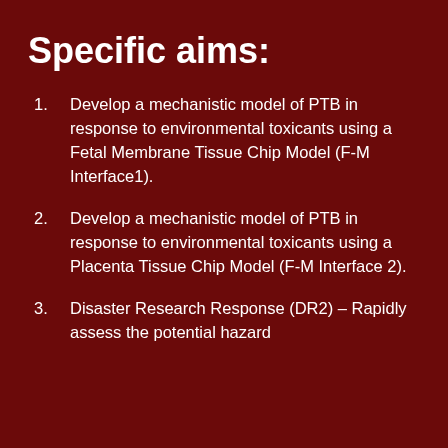Specific aims:
Develop a mechanistic model of PTB in response to environmental toxicants using a Fetal Membrane Tissue Chip Model (F-M Interface1).
Develop a mechanistic model of PTB in response to environmental toxicants using a Placenta Tissue Chip Model (F-M Interface 2).
Disaster Research Response (DR2) – Rapidly assess the potential hazard